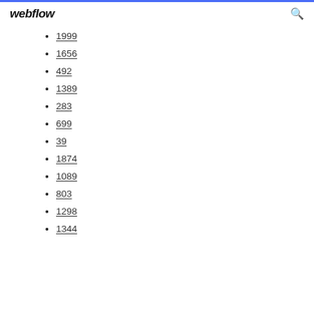webflow
1999
1656
492
1389
283
699
39
1874
1089
803
1298
1344